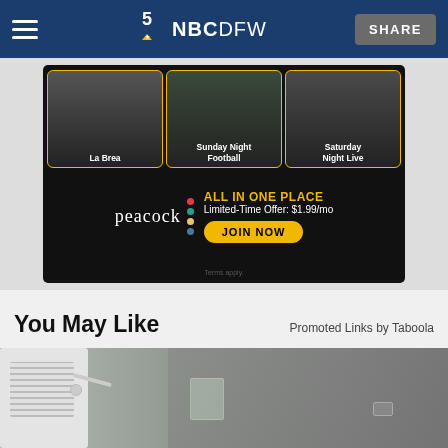NBC DFW — SHARE
[Figure (screenshot): Peacock streaming advertisement showing La Brea, Sunday Night Football, Saturday Night Live thumbnails. Text: ALL IN ONE PLACE, Limited-Time Offer: $1.99/mo, JOIN NOW, Terms apply.]
You May Like
Promoted Links by Taboola
[Figure (photo): Photo of a person in a gray v-neck shirt holding a glass cup, next to a white portable air unit/device with a hose, sitting at a table.]